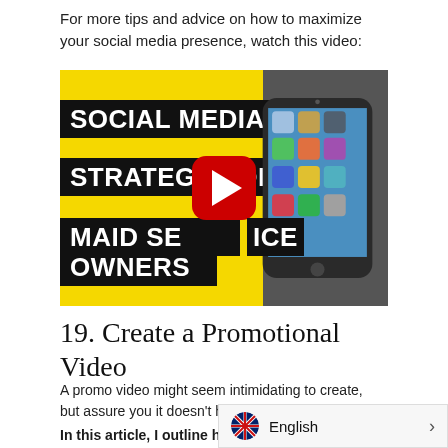For more tips and advice on how to maximize your social media presence, watch this video:
[Figure (screenshot): YouTube video thumbnail for 'Social Media Strategy for Maid Service Owners' showing bold white text on black bars over a yellow background, with a red play button in the center and a hand holding a smartphone on the right side.]
19. Create a Promotional Video
A promo video might seem intimidating to create, but assure you it doesn't have to be!
In this article, I outline how k...
English